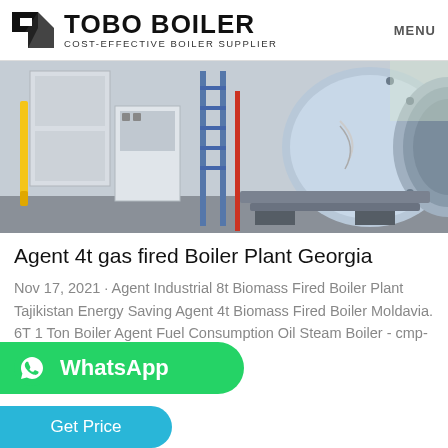TOBO BOILER – COST-EFFECTIVE BOILER SUPPLIER | MENU
[Figure (photo): Industrial boiler plant equipment in a facility — showing large cylindrical boiler tank, control panels, pipes, and structural supports on a factory floor.]
Agent 4t gas fired Boiler Plant Georgia
Nov 17, 2021 · Agent Industrial 8t Biomass Fired Boiler Plant Tajikistan Energy Saving Agent 4t Biomass Fired Boiler Moldavia. 6T 1 Ton Boiler Agent Fuel Consumption Oil Steam Boiler - cmp-h.org.uk....